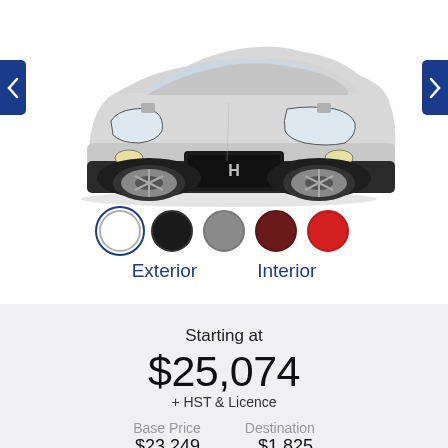[Figure (photo): Front three-quarter view of a silver Hyundai Kona SUV on white background. Navigation arrows visible on left and right sides.]
[Figure (other): Five color selector dots: white (selected/active), black, gray, dark red, red]
Exterior    Interior
Starting at
$25,074
+ HST & Licence
Base Price    Destination
$23,249    $1,825